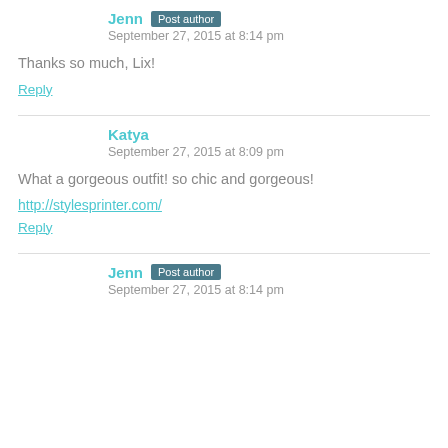Jenn Post author
September 27, 2015 at 8:14 pm
Thanks so much, Lix!
Reply
Katya
September 27, 2015 at 8:09 pm
What a gorgeous outfit! so chic and gorgeous!
http://stylesprinter.com/
Reply
Jenn Post author
September 27, 2015 at 8:14 pm